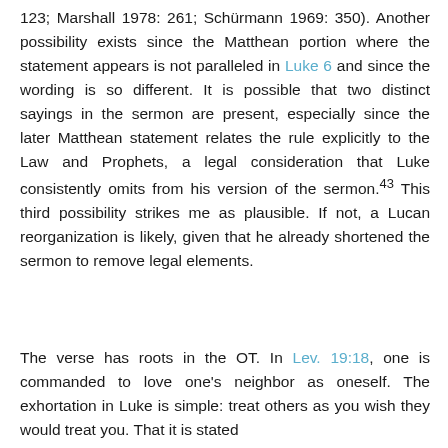123; Marshall 1978: 261; Schürmann 1969: 350). Another possibility exists since the Matthean portion where the statement appears is not paralleled in Luke 6 and since the wording is so different. It is possible that two distinct sayings in the sermon are present, especially since the later Matthean statement relates the rule explicitly to the Law and Prophets, a legal consideration that Luke consistently omits from his version of the sermon.43 This third possibility strikes me as plausible. If not, a Lucan reorganization is likely, given that he already shortened the sermon to remove legal elements.
The verse has roots in the OT. In Lev. 19:18, one is commanded to love one's neighbor as oneself. The exhortation in Luke is simple: treat others as you wish they would treat you. That it is stated